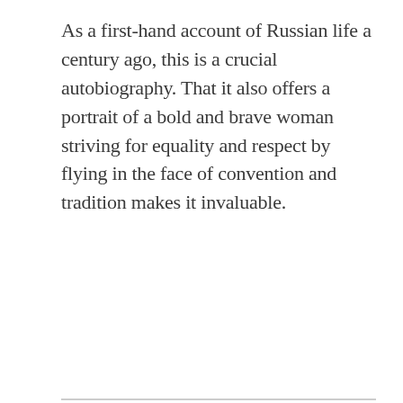As a first-hand account of Russian life a century ago, this is a crucial autobiography. That it also offers a portrait of a bold and brave woman striving for equality and respect by flying in the face of convention and tradition makes it invaluable.
ABOUT THE AUTHOR: Maria Bochkareva was born a poor peasant and survived domestic abuse, rape, and attempted murder before joining the Russian Imperial Army, and fighting in the First World War, where she was twice wounded. After the February 1917 revolution, she was tasked with establishing the First Women's Battalion of Death, eventually leading